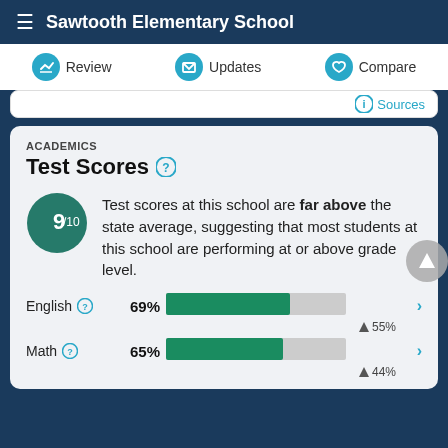Sawtooth Elementary School
Review   Updates   Compare
Sources
ACADEMICS
Test Scores
Test scores at this school are far above the state average, suggesting that most students at this school are performing at or above grade level.
[Figure (infographic): Score badge showing 9/10]
English 69%
[Figure (bar-chart): English test score]
Math 65%
[Figure (bar-chart): Math test score]